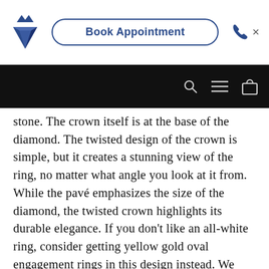[Figure (screenshot): Website header with diamond logo, Book Appointment button, phone icon, and close X button on white background, followed by black navigation bar with search, hamburger menu, and cart icons]
stone. The crown itself is at the base of the diamond. The twisted design of the crown is simple, but it creates a stunning view of the ring, no matter what angle you look at it from. While the pavé emphasizes the size of the diamond, the twisted crown highlights its durable elegance. If you don't like an all-white ring, consider getting yellow gold oval engagement rings in this design instead. We also offer the ring in 14k, 18k, and platinum. Order our special oval solitaire engagement rings with a twisted crown today.